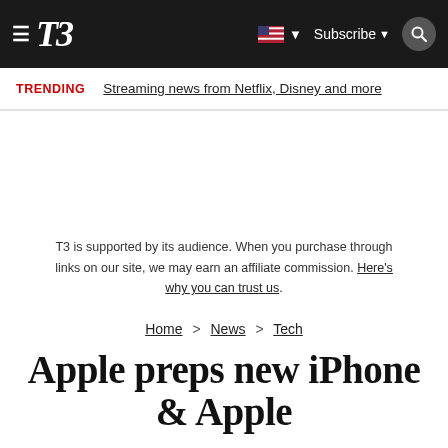T3 | Subscribe
TRENDING  Streaming news from Netflix, Disney and more
T3 is supported by its audience. When you purchase through links on our site, we may earn an affiliate commission. Here's why you can trust us.
Home > News > Tech
Apple preps new iPhone & Apple